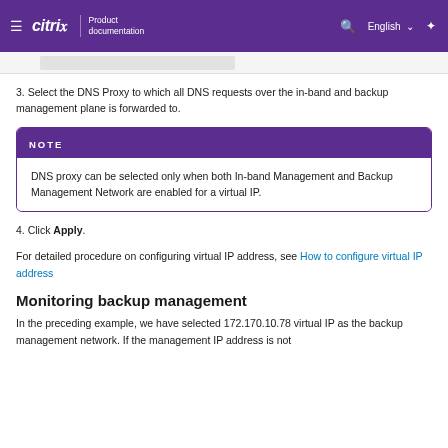Citrix Product documentation — English
[Figure (screenshot): Partial screenshot of a UI element visible at top of page]
3. Select the DNS Proxy to which all DNS requests over the in-band and backup management plane is forwarded to.
NOTE
DNS proxy can be selected only when both In-band Management and Backup Management Network are enabled for a virtual IP.
4. Click Apply.
For detailed procedure on configuring virtual IP address, see How to configure virtual IP address
Monitoring backup management
In the preceding example, we have selected 172.170.10.78 virtual IP as the backup management network. If the management IP address is not